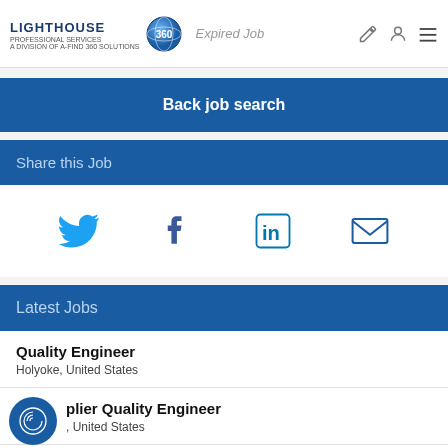LIGHTHOUSE Professional Services 360 — A Division of A-Find 360 Solutions | Expired Job
Back job search
Share this Job
[Figure (infographic): Social share icons: Twitter bird, Facebook f, LinkedIn in, Email envelope]
Latest Jobs
Quality Engineer
Holyoke, United States
Supplier Quality Engineer
[city], United States
Quality M...